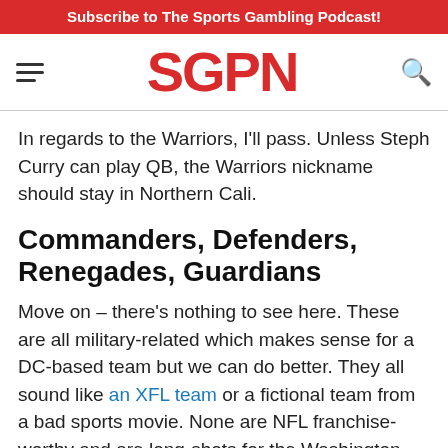Subscribe to The Sports Gambling Podcast!
[Figure (logo): SGPN logo in red bold text with hamburger menu icon on left and search icon on right]
In regards to the Warriors, I'll pass.  Unless Steph Curry can play QB, the Warriors nickname should stay in Northern Cali.
Commanders, Defenders, Renegades, Guardians
Move on – there's nothing to see here.  These are all military-related which makes sense for a DC-based team but we can do better.  They all sound like an XFL team or a fictional team from a bad sports movie.  None are NFL franchise-worthy and are long-shots for the Washington Football Team name change.